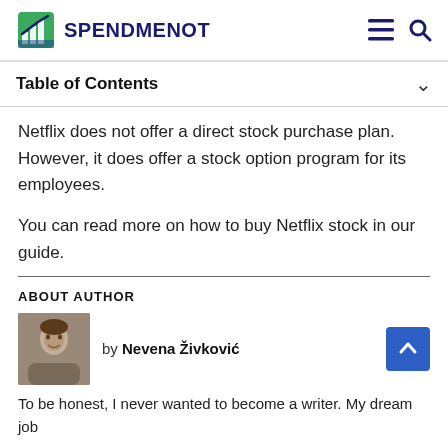SPENDMENOT
Table of Contents
Netflix does not offer a direct stock purchase plan. However, it does offer a stock option program for its employees.
You can read more on how to buy Netflix stock in our guide.
ABOUT AUTHOR
by Nevena Živković
To be honest, I never wanted to become a writer. My dream job